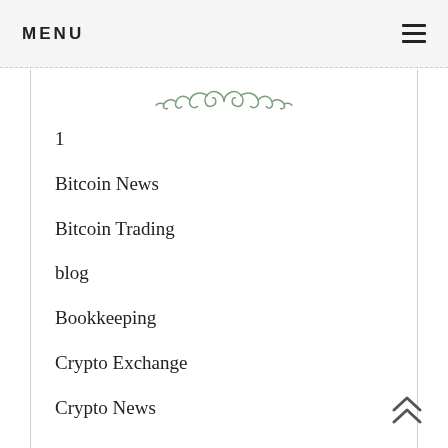MENU
[Figure (illustration): Decorative green scrollwork/floral ornament divider]
1
Bitcoin News
Bitcoin Trading
blog
Bookkeeping
Crypto Exchange
Crypto News